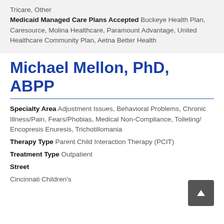Tricare, Other
Medicaid Managed Care Plans Accepted Buckeye Health Plan, Caresource, Molina Healthcare, Paramount Advantage, United Healthcare Community Plan, Aetna Better Health
Michael Mellon, PhD, ABPP
Specialty Area Adjustment Issues, Behavioral Problems, Chronic Illness/Pain, Fears/Phobias, Medical Non-Compliance, Toileting/ Encopresis Enuresis, Trichotillomania
Therapy Type Parent Child Interaction Therapy (PCIT)
Treatment Type Outpatient
Street
Cincinnati Children's